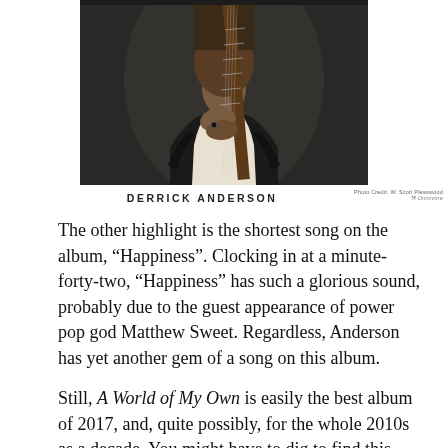[Figure (photo): Black and white photo of Derrick Anderson holding a guitar, wearing a dark jacket and white shirt, cropped from shoulders up with hands visible on guitar neck.]
DERRICK ANDERSON
Photo Credit: W. Scott Pleaswood
The other highlight is the shortest song on the album, “Happiness”. Clocking in at a minute-forty-two, “Happiness” has such a glorious sound, probably due to the guest appearance of power pop god Matthew Sweet. Regardless, Anderson has yet another gem of a song on this album.
Still, A World of My Own is easily the best album of 2017, and, quite possibly, for the whole 2010s as a decade. You might have to dig to find this